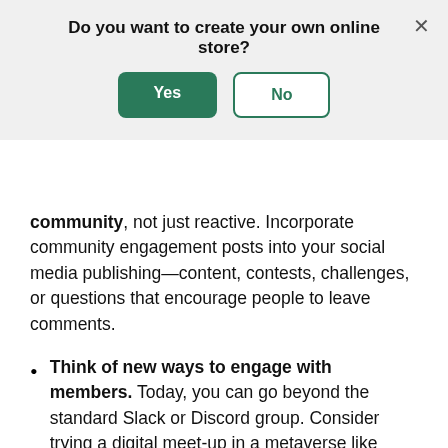[Figure (screenshot): Modal dialog asking 'Do you want to create your own online store?' with a green 'Yes' button and a white/outlined 'No' button, and an X close button in the top right corner.]
community, not just reactive. Incorporate community engagement posts into your social media publishing—content, contests, challenges, or questions that encourage people to leave comments.
Think of new ways to engage with members. Today, you can go beyond the standard Slack or Discord group. Consider trying a digital meet-up in a metaverse like Decentraland. That way, everyone can get together and interact versus sending texts or getting on Zoom calls.